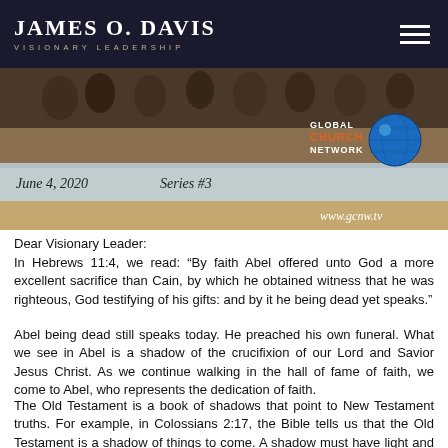JAMES O. DAVIS VISIONARY LEADERSHIP
[Figure (photo): Banner image with dark crowd background, a horizontal strip showing 'June 4, 2020   Series #3', Global Church Network logo with globe, and www.gcnw.tv URL]
Dear Visionary Leader:
In Hebrews 11:4, we read: “By faith Abel offered unto God a more excellent sacrifice than Cain, by which he obtained witness that he was righteous, God testifying of his gifts: and by it he being dead yet speaks.”
Abel being dead still speaks today. He preached his own funeral. What we see in Abel is a shadow of the crucifixion of our Lord and Savior Jesus Christ. As we continue walking in the hall of fame of faith, we come to Abel, who represents the dedication of faith.
The Old Testament is a book of shadows that point to New Testament truths. For example, in Colossians 2:17, the Bible tells us that the Old Testament is a shadow of things to come. A shadow must have light and it must have something to shine upon. The